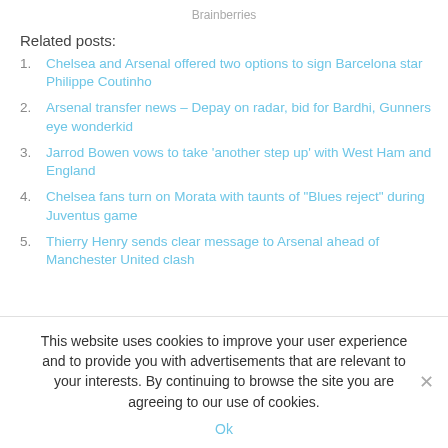Brainberries
Related posts:
Chelsea and Arsenal offered two options to sign Barcelona star Philippe Coutinho
Arsenal transfer news – Depay on radar, bid for Bardhi, Gunners eye wonderkid
Jarrod Bowen vows to take 'another step up' with West Ham and England
Chelsea fans turn on Morata with taunts of "Blues reject" during Juventus game
Thierry Henry sends clear message to Arsenal ahead of Manchester United clash
This website uses cookies to improve your user experience and to provide you with advertisements that are relevant to your interests. By continuing to browse the site you are agreeing to our use of cookies.
Ok